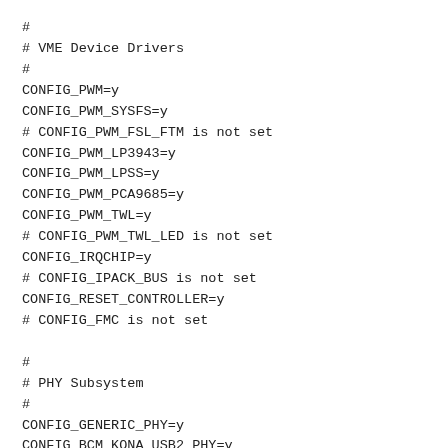#
# VME Device Drivers
#
CONFIG_PWM=y
CONFIG_PWM_SYSFS=y
# CONFIG_PWM_FSL_FTM is not set
CONFIG_PWM_LP3943=y
CONFIG_PWM_LPSS=y
CONFIG_PWM_PCA9685=y
CONFIG_PWM_TWL=y
# CONFIG_PWM_TWL_LED is not set
CONFIG_IRQCHIP=y
# CONFIG_IPACK_BUS is not set
CONFIG_RESET_CONTROLLER=y
# CONFIG_FMC is not set

#
# PHY Subsystem
#
CONFIG_GENERIC_PHY=y
CONFIG_BCM_KONA_USB2_PHY=y
# CONFIG_PHY_SAMSUNG_USB2 is not set
CONFIG_POWERCAP=y
CONFIG_INTEL_RAPL=y